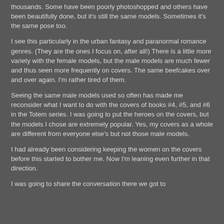thousands. Some have been poorly photoshopped and others have been beautifully done, but it's still the same models. Sometimes it's the same pose too.
I see this particularly in the urban fantasy and paranormal romance genres. (They are the ones I focus on, after all!) There is a little more variety with the female models, but the male models are much fewer and thus seen more frequently on covers. The same beefcakes over and over again. I'm rather tired of them.
Seeing the same male models used so often has made me reconsider what I want to do with the covers of books #4, #5, and #6 in the Totem series. I was going to put the heroes on the covers, but the models I chose are extremely popular. Yes, my covers as a whole are different from everyone else's but not those male models.
I had already been considering keeping the women on the covers before this started to bother me. Now I'm leaning even further in that direction.
I was going to share the conversation there we got to